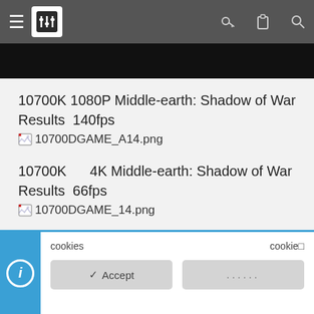[Figure (screenshot): Website navigation bar with hamburger menu, logo/settings icon, and right-side icons for key, clipboard, and search]
[Figure (photo): Black image strip partially visible]
10700K 1080P Middle-earth: Shadow of War Results 140fps
[Figure (other): Broken image placeholder: 10700DGAME_A14.png]
10700K 4K Middle-earth: Shadow of War Results 66fps
[Figure (other): Broken image placeholder: 10700DGAME_14.png]
[Figure (other): Broken image placeholder: T182.PNG]
cookies cookie□
✓ Accept ......